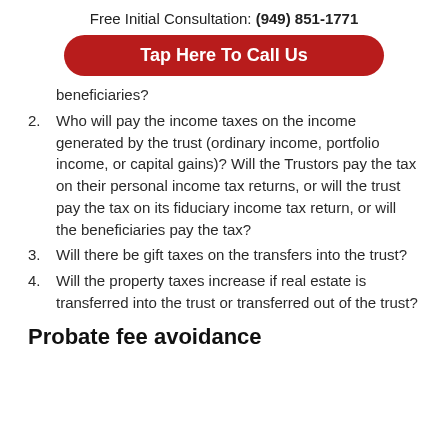Free Initial Consultation: (949) 851-1771
Tap Here To Call Us
beneficiaries?
2. Who will pay the income taxes on the income generated by the trust (ordinary income, portfolio income, or capital gains)? Will the Trustors pay the tax on their personal income tax returns, or will the trust pay the tax on its fiduciary income tax return, or will the beneficiaries pay the tax?
3. Will there be gift taxes on the transfers into the trust?
4. Will the property taxes increase if real estate is transferred into the trust or transferred out of the trust?
Probate fee avoidance